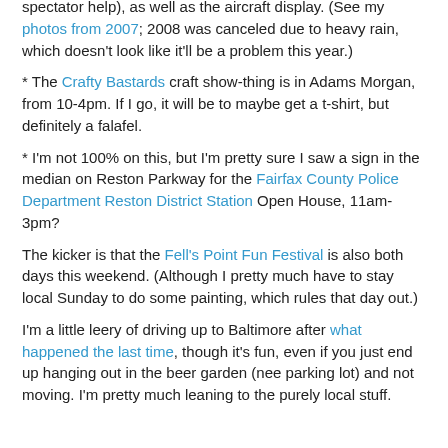spectator help), as well as the aircraft display. (See my photos from 2007; 2008 was canceled due to heavy rain, which doesn't look like it'll be a problem this year.)
* The Crafty Bastards craft show-thing is in Adams Morgan, from 10-4pm. If I go, it will be to maybe get a t-shirt, but definitely a falafel.
* I'm not 100% on this, but I'm pretty sure I saw a sign in the median on Reston Parkway for the Fairfax County Police Department Reston District Station Open House, 11am-3pm?
The kicker is that the Fell's Point Fun Festival is also both days this weekend. (Although I pretty much have to stay local Sunday to do some painting, which rules that day out.)
I'm a little leery of driving up to Baltimore after what happened the last time, though it's fun, even if you just end up hanging out in the beer garden (nee parking lot) and not moving. I'm pretty much leaning to the purely local stuff.